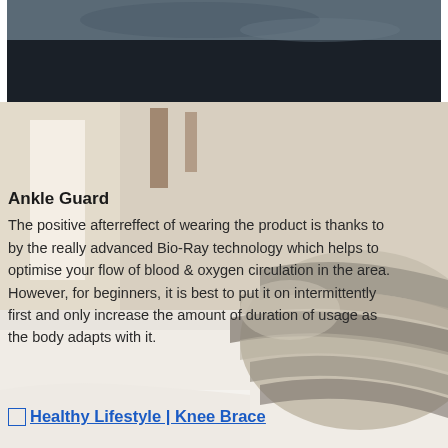[Figure (photo): Top portion shows dark fabric/clothing. Lower portion shows bedroom scene with striped pillow on white bedding.]
Ankle Guard
The positive afterreffect of wearing the product is thanks to by the really advanced Bio-Ray technology which helps to optimise your flow of blood & oxygen circulation in the area. However, for beginners, it is best to put it on intermittently first and only increase the amount of duration of usage as the body adapts with it.
Healthy Lifestyle | Knee Brace